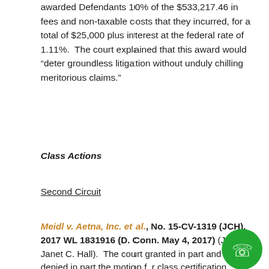awarded Defendants 10% of the $533,217.46 in fees and non-taxable costs that they incurred, for a total of $25,000 plus interest at the federal rate of 1.11%. The court explained that this award would “deter groundless litigation without unduly chilling meritorious claims.”
Class Actions
Second Circuit
Meidl v. Aetna, Inc. et al., No. 15-CV-1319 (JCH), 2017 WL 1831916 (D. Conn. May 4, 2017) (Judge Janet C. Hall). The court granted in part and denied in part the motion for class certification. The court certified the Transcranial Magnetic Stimulation (TMS) Class under FRCP 23(b)(1) and (b)(2) to seek retrospective injunctive relief. “The TMS class consists of all participants or beneficiaries in Aetna Plans administered by Aetna (or any of its operating divisions) who, from September 3, 2009, to July 29, 2016, were denied health insurance coverage for